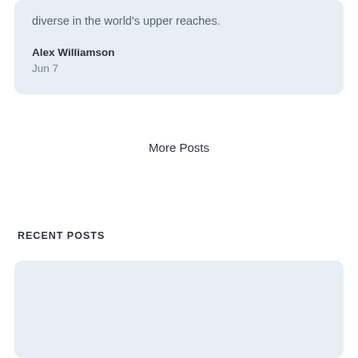diverse in the world's upper reaches.
Alex Williamson
Jun 7
More Posts
RECENT POSTS
[Figure (other): Light blue placeholder card/image block]